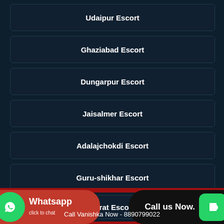Udaipur Escort
Ghaziabad Escort
Dungarpur Escort
Jaisalmer Escort
Adalajchokdi Escort
Guru-shikhar Escort
Dhanera Escort
Surat Escort
Whatsapp click to chat
Call us Now.
Call Vanishka Now - 8890799022
WhatsApp To Vanishka - 8890799022